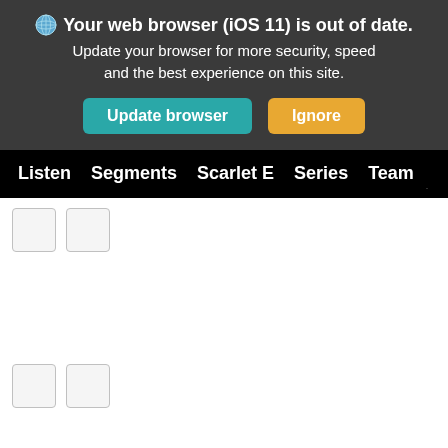🌐 Your web browser (iOS 11) is out of date. Update your browser for more security, speed and the best experience on this site.
[Figure (screenshot): Two buttons: 'Update browser' (teal/cyan background) and 'Ignore' (orange/amber background)]
Listen  Segments  Scarlet E  Series  Team
[Figure (other): Two small placeholder/media control boxes in the upper content area]
[Figure (other): Two small placeholder/media control boxes at the bottom of the content area]